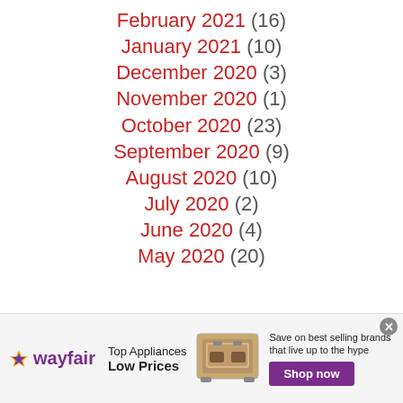February 2021 (16)
January 2021 (10)
December 2020 (3)
November 2020 (1)
October 2020 (23)
September 2020 (9)
August 2020 (10)
July 2020 (2)
June 2020 (4)
May 2020 (20)
[Figure (other): Wayfair advertisement banner: Top Appliances Low Prices, Save on best selling brands that live up to the hype, Shop now button]